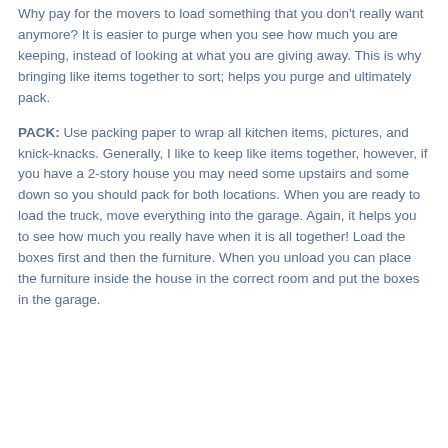Why pay for the movers to load something that you don't really want anymore? It is easier to purge when you see how much you are keeping, instead of looking at what you are giving away. This is why bringing like items together to sort; helps you purge and ultimately pack.
PACK: Use packing paper to wrap all kitchen items, pictures, and knick-knacks. Generally, I like to keep like items together, however, if you have a 2-story house you may need some upstairs and some down so you should pack for both locations. When you are ready to load the truck, move everything into the garage. Again, it helps you to see how much you really have when it is all together! Load the boxes first and then the furniture. When you unload you can place the furniture inside the house in the correct room and put the boxes in the garage.